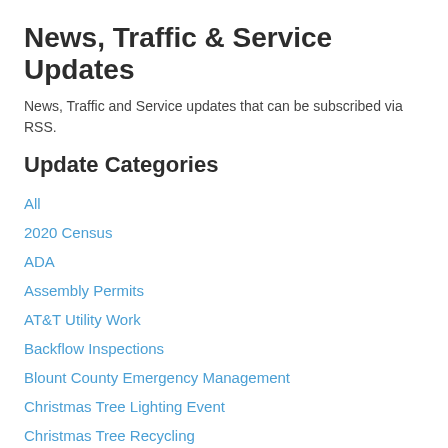News, Traffic & Service Updates
News, Traffic and Service updates that can be subscribed via RSS.
Update Categories
All
2020 Census
ADA
Assembly Permits
AT&T Utility Work
Backflow Inspections
Blount County Emergency Management
Christmas Tree Lighting Event
Christmas Tree Recycling
Citizen Survey
Clydesdales
COVID 19
COVID-19
Electric Maintenance
Electric Outage
Employee Recognition